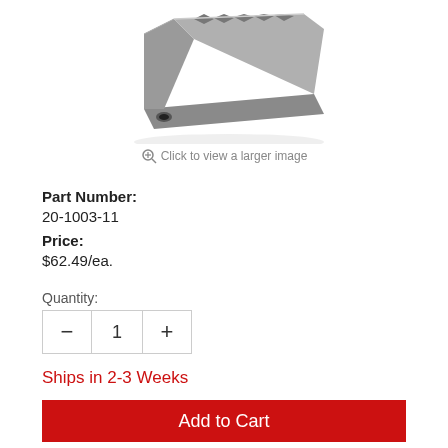[Figure (photo): A metal bracket/clamp part, gray metallic finish, photographed on white background]
Click to view a larger image
Part Number:
20-1003-11
Price:
$62.49/ea.
Quantity:
Ships in 2-3 Weeks
Add to Cart